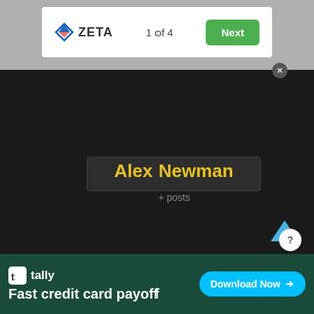[Figure (screenshot): Zeta app UI top bar showing logo, page counter '1 of 4', and green Next button]
[Figure (screenshot): Dark profile card with generic user avatar silhouette, name 'Alex Newman' in yellow, and '+ posts' label]
Alex Newman
+ posts
[Figure (screenshot): Tally advertisement banner: 'Fast credit card payoff' with Download Now button]